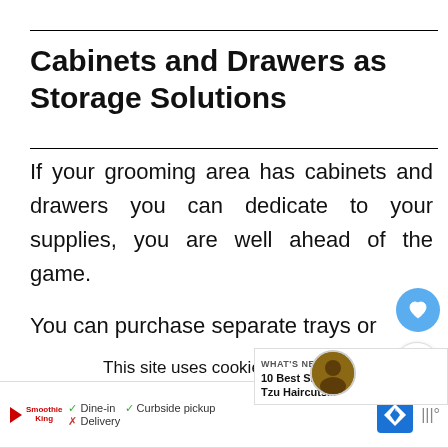Cabinets and Drawers as Storage Solutions
If your grooming area has cabinets and drawers you can dedicate to your supplies, you are well ahead of the game.
You can purchase separate trays or partitions to organize your tools
This site uses cookies. Please accept their use before continuing. Privacy Statement
WHAT'S NEXT → 10 Best Shih Tzu Haircuts...